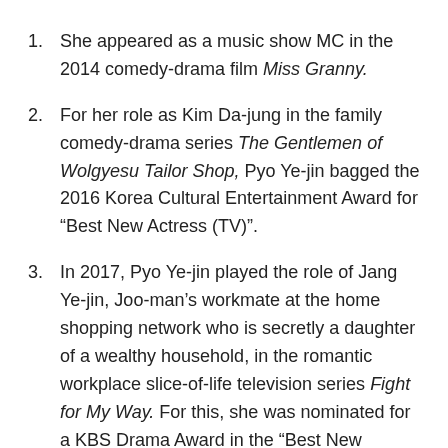She appeared as a music show MC in the 2014 comedy-drama film Miss Granny.
For her role as Kim Da-jung in the family comedy-drama series The Gentlemen of Wolgyesu Tailor Shop, Pyo Ye-jin bagged the 2016 Korea Cultural Entertainment Award for “Best New Actress (TV)”.
In 2017, Pyo Ye-jin played the role of Jang Ye-jin, Joo-man’s workmate at the home shopping network who is secretly a daughter of a wealthy household, in the romantic workplace slice-of-life television series Fight for My Way. For this, she was nominated for a KBS Drama Award in the “Best New Actress” category.
Alongside Lee Sung-yeol, Lee Dong-ha, and Han Hye-rin, Pyo Ye-jin co-starred as a spontaneous, sentimental, and stubborn woman named Gil Eun-jo in the television...